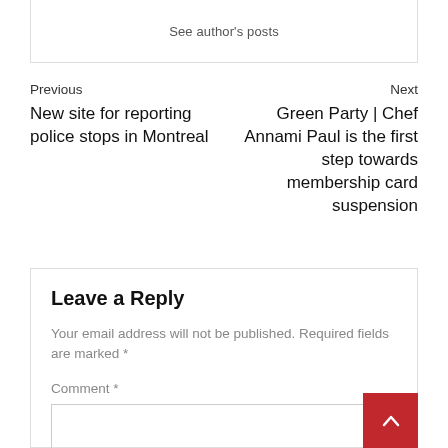See author's posts
Previous
New site for reporting police stops in Montreal
Next
Green Party | Chef Annami Paul is the first step towards membership card suspension
Leave a Reply
Your email address will not be published. Required fields are marked *
Comment *